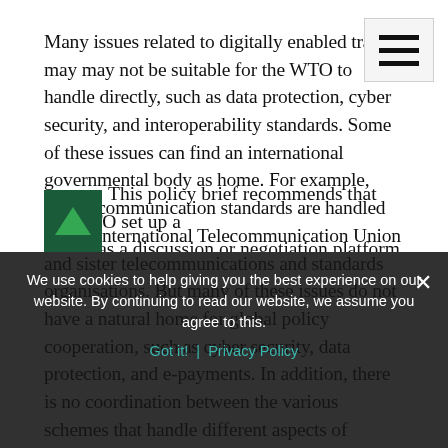Many issues related to digitally enabled trade may may not be suitable for the WTO to handle directly, such as data protection, cyber security, and interoperability standards. Some of these issues can find an international governmental body as home. For example, digital communication standards are handled by the International Telecommunication Union and sister telecommunications and standards organisations. But many of these issues do not have a natural home for global policy cooperation, such as cyber security, data protection, and e-payments. In addition, there is no coordination between the various schemes that handle different aspects of digitally enabled trade.
This policy brief recommends that the WTO set up a body not as a discussion or negotiation platform within the WTO, which already exists, but rather as a
We use cookies to help giving you the best experience on our website. By continuing to read our website, we assume you agree to this.